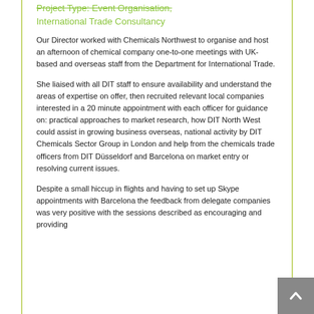Project Type: Event Organisation, International Trade Consultancy
Our Director worked with Chemicals Northwest to organise and host an afternoon of chemical company one-to-one meetings with UK-based and overseas staff from the Department for International Trade.
She liaised with all DIT staff to ensure availability and understand the areas of expertise on offer, then recruited relevant local companies interested in a 20 minute appointment with each officer for guidance on: practical approaches to market research, how DIT North West could assist in growing business overseas, national activity by DIT Chemicals Sector Group in London and help from the chemicals trade officers from DIT Düsseldorf and Barcelona on market entry or resolving current issues.
Despite a small hiccup in flights and having to set up Skype appointments with Barcelona the feedback from delegate companies was very positive with the sessions described as encouraging and providing